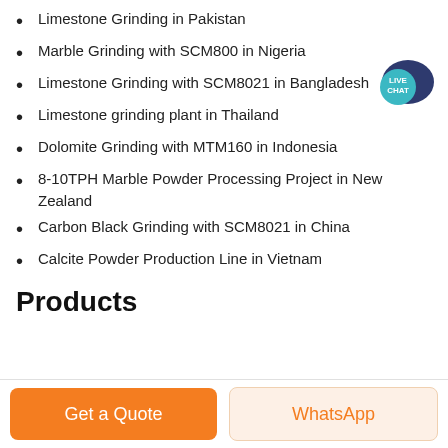Limestone Grinding in Pakistan
Marble Grinding with SCM800 in Nigeria
Limestone Grinding with SCM8021 in Bangladesh
Limestone grinding plant in Thailand
Dolomite Grinding with MTM160 in Indonesia
8-10TPH Marble Powder Processing Project in New Zealand
Carbon Black Grinding with SCM8021 in China
Calcite Powder Production Line in Vietnam
Products
Get a Quote
WhatsApp